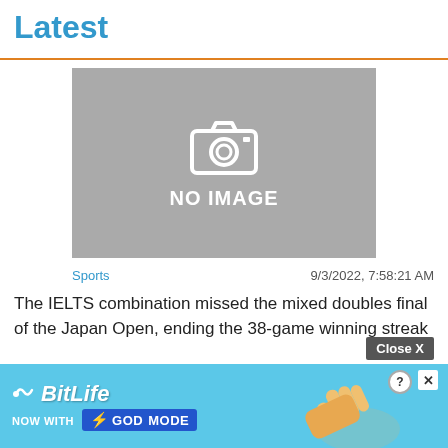Latest
[Figure (photo): Placeholder image with camera icon and 'NO IMAGE' text on grey background]
Sports   9/3/2022, 7:58:21 AM
The IELTS combination missed the mixed doubles final of the Japan Open, ending the 38-game winning streak
[Figure (screenshot): BitLife advertisement banner - 'NOW WITH GOD MODE' on blue background with hand graphic]